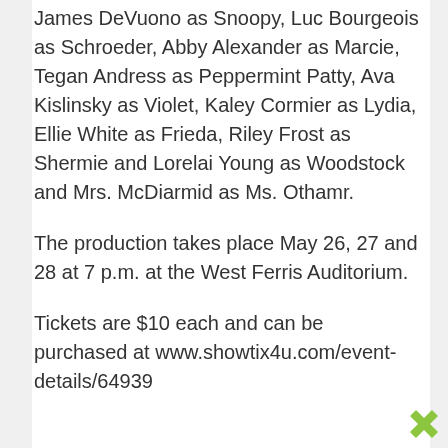James DeVuono as Snoopy, Luc Bourgeois as Schroeder, Abby Alexander as Marcie, Tegan Andress as Peppermint Patty, Ava Kislinsky as Violet, Kaley Cormier as Lydia, Ellie White as Frieda, Riley Frost as Shermie and Lorelai Young as Woodstock and Mrs. McDiarmid as Ms. Othamr.
The production takes place May 26, 27 and 28 at 7 p.m. at the West Ferris Auditorium.
Tickets are $10 each and can be purchased at www.showtix4u.com/event-details/64939
Source link